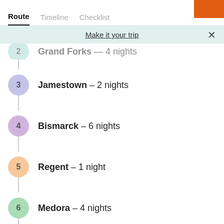Route | Timeline | Checklist
Make it your trip
2  Grand Forks – 4 nights
3  Jamestown – 2 nights
4  Bismarck – 6 nights
5  Regent – 1 night
6  Medora – 4 nights
7  Williston – 4 nights